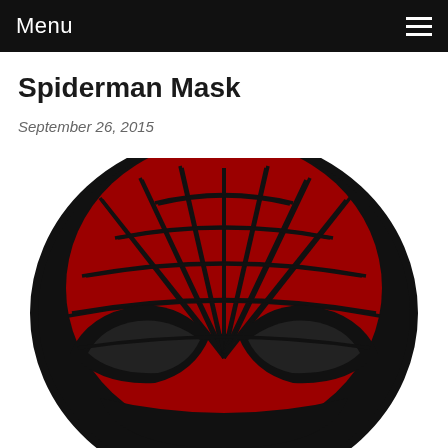Menu
Spiderman Mask
September 26, 2015
[Figure (illustration): Spiderman mask illustration — top portion of the iconic Spiderman mask showing the red and black webbed pattern on the upper head/forehead area, with large black eye shapes visible at the bottom, on a white background.]